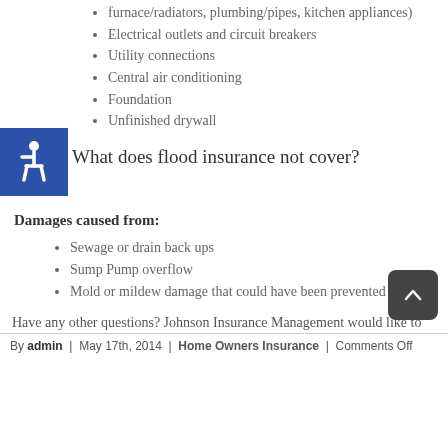furnace/radiators, plumbing/pipes, kitchen appliances)
Electrical outlets and circuit breakers
Utility connections
Central air conditioning
Foundation
Unfinished drywall
What does flood insurance not cover?
Damages caused from:
Sewage or drain back ups
Sump Pump overflow
Mold or mildew damage that could have been prevented
Have any other questions? Johnson Insurance Management would like to help. We look forward to hearing from you.
By admin | May 17th, 2014 | Home Owners Insurance | Comments Off